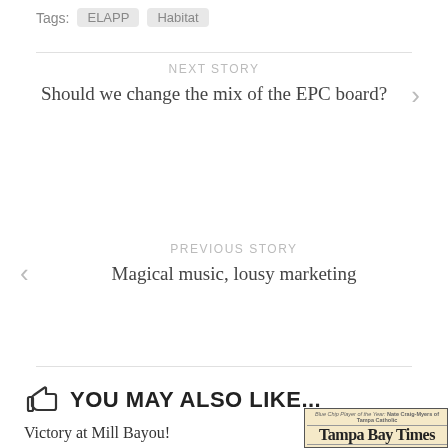Tags: ELAPP Habitat
NEXT STORY
Should we change the mix of the EPC board?
PREVIOUS STORY
Magical music, lousy marketing
YOU MAY ALSO LIKE...
Victory at Mill Bayou!
[Figure (photo): Tampa Bay Times newspaper front page showing headline 'Cash rolls in at vote time' with '$11,200' highlighted in green]